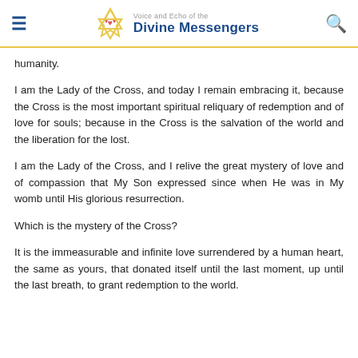Voice and Echo of the Divine Messengers
humanity.
I am the Lady of the Cross, and today I remain embracing it, because the Cross is the most important spiritual reliquary of redemption and of love for souls; because in the Cross is the salvation of the world and the liberation for the lost.
I am the Lady of the Cross, and I relive the great mystery of love and of compassion that My Son expressed since when He was in My womb until His glorious resurrection.
Which is the mystery of the Cross?
It is the immeasurable and infinite love surrendered by a human heart, the same as yours, that donated itself until the last moment, up until the last breath, to grant redemption to the world.